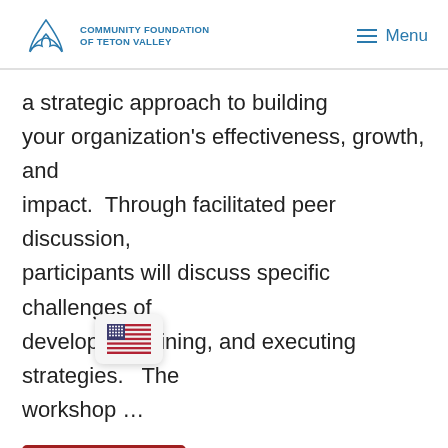Community Foundation of Teton Valley | Menu
a strategic approach to building your organization's effectiveness, growth, and impact.  Through facilitated peer discussion, participants will discuss specific challenges of developing refining, and executing strategies.   The workshop …
Read More
Teton Valley Community Recycling –